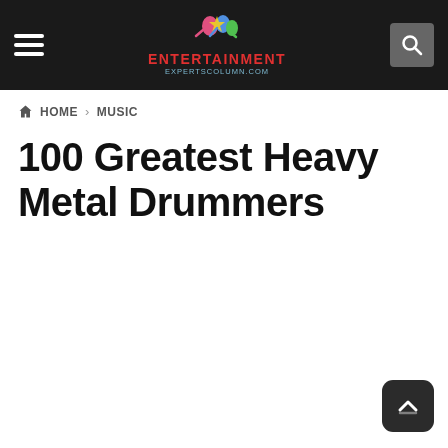ENTERTAINMENT EXPERTSCOLUMN.COM
HOME > MUSIC
100 Greatest Heavy Metal Drummers